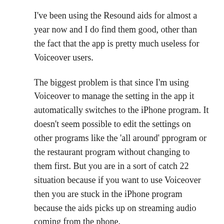I've been using the Resound aids for almost a year now and I do find them good, other than the fact that the app is pretty much useless for Voiceover users.
The biggest problem is that since I'm using Voiceover to manage the setting in the app it automatically switches to the iPhone program. It doesn't seem possible to edit the settings on other programs like the 'all around' pprogram or the restaurant program without changing to them first. But you are in a sort of catch 22 situation because if you want to use Voiceover then you are stuck in the iPhone program because the aids picks up on streaming audio coming from the phone.